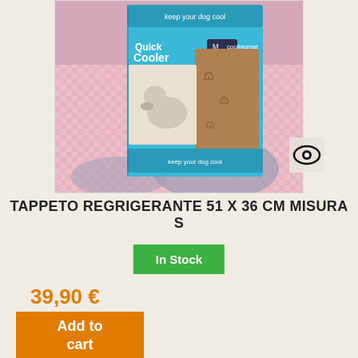[Figure (photo): Product photo of Quick Cooler cooling mat for pets (size M/S) in blue packaging, showing a dog on a brownish mat, placed on a pink checkered and purple floral fabric surface.]
TAPPETO REGRIGERANTE 51 X 36 CM MISURA S
In Stock
39,90 €
Add to cart